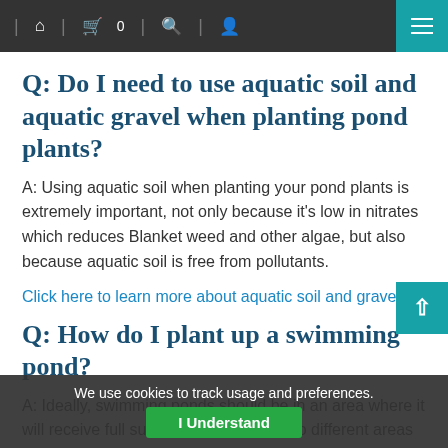Navigation bar with home, cart (0), search, user icons and hamburger menu
Q: Do I need to use aquatic soil and aquatic gravel when planting pond plants?
A: Using aquatic soil when planting your pond plants is extremely important, not only because it's low in nitrates which reduces Blanket weed and other algae, but also because aquatic soil is free from pollutants.
Click here to learn more about aquatic soil and gravel
Q: How do I plant up a swimming pond?
A: Ideally, swimming ponds should be in an area where it will receive full sun and should have two different areas of the pond — one for swimming,
We use cookies to track usage and preferences. I Understand